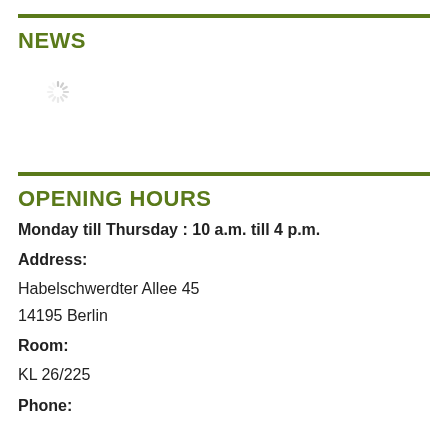NEWS
[Figure (other): Loading spinner icon]
OPENING HOURS
Monday till Thursday : 10 a.m. till 4 p.m.
Address:
Habelschwerdter Allee 45
14195 Berlin
Room:
KL 26/225
Phone: